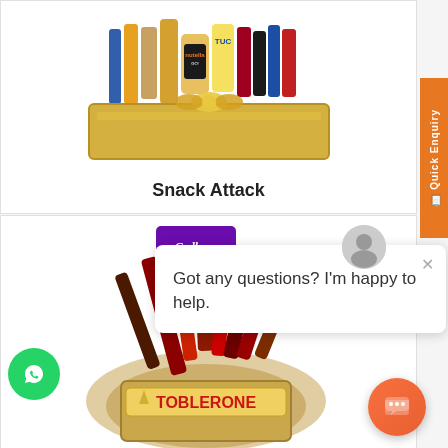[Figure (photo): Gift basket with assorted snacks including Nutella, Oreo, TUC crackers, Rana and other brands, in a gold box with ribbon bow]
Snack Attack
[Figure (photo): Chocolate bouquet with Cadbury, Toblerone, Kit Kat and other chocolate bars arranged in decorative wrapping with tissue paper]
Got any questions? I'm happy to help.